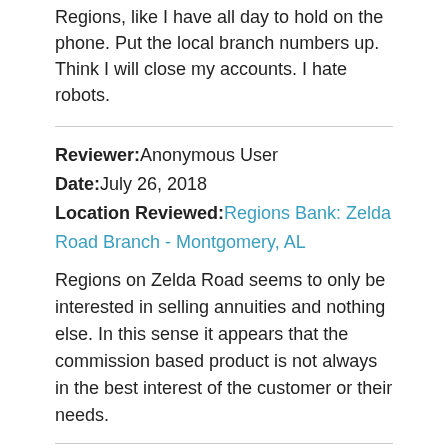Regions, like I have all day to hold on the phone. Put the local branch numbers up. Think I will close my accounts. I hate robots.
Reviewer: Anonymous User
Date: July 26, 2018
Location Reviewed: Regions Bank: Zelda Road Branch - Montgomery, AL
Regions on Zelda Road seems to only be interested in selling annuities and nothing else. In this sense it appears that the commission based product is not always in the best interest of the customer or their needs.
1/10 ★
Reviewer: Flora Richardson
Date: July 26, 2018
Location Reviewed: Regions Bank: Clinton Branch - Clinton, MS
The ATM located on Hwy 80 in Clinton, MS took my